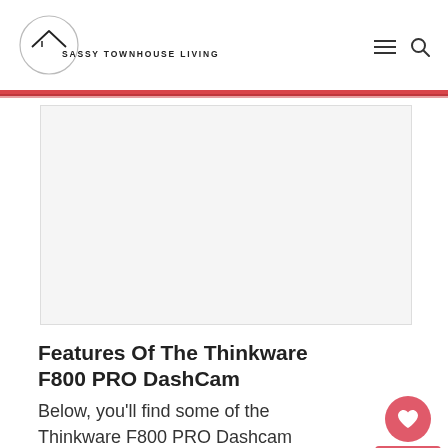SASSY TOWNHOUSE LIVING
[Figure (other): Advertisement placeholder block, light gray background]
Features Of The Thinkware F800 PRO DashCam
Below, you'll find some of the Thinkware F800 PRO Dashcam features that set it apart from other brands. Every feature